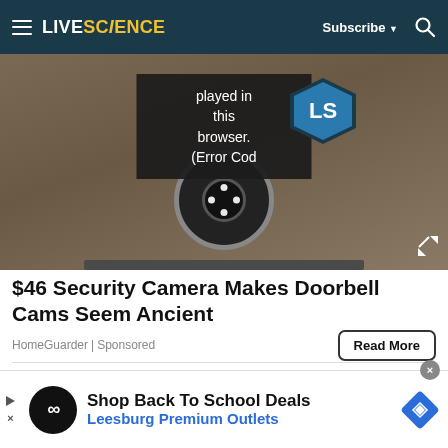LiveScience — Subscribe | Search
[Figure (screenshot): Video player area showing a security camera mounted on a wall with an error overlay reading 'played in this browser. (Error Cod' and a LiveScience logo badge]
$46 Security Camera Makes Doorbell Cams Seem Ancient
HomeGuarder | Sponsored
Read More
[Figure (photo): Two side-by-side images: left shows an elderly person with white/blonde hair in a hallway, right shows what appears to be food in a pan]
Shop Back To School Deals
Leesburg Premium Outlets